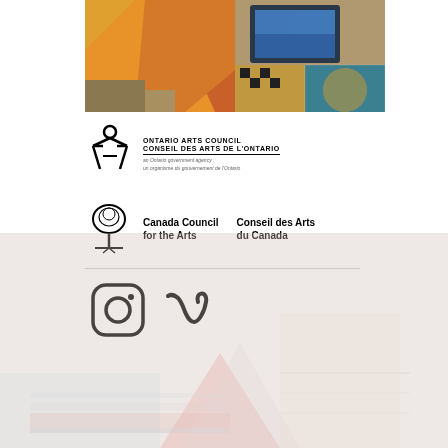[Figure (photo): Colorful collage artwork photo at top - mixed media with orange, red, yellow colors alongside a screen/monitor and geometric patterns]
[Figure (logo): Ontario Arts Council / Conseil des Arts de l'Ontario logo - stylized A figure with bilingual text and subtitle 'an Ontario government agency / un organisme du gouvernement de l'Ontario']
[Figure (logo): Canada Council for the Arts / Conseil des Arts du Canada logo - tree icon with bilingual text]
[Figure (logo): Social media icons: Instagram and Vimeo logos]
[Figure (photo): Faded background photo showing an artistic installation or gallery space with colorful elements, very light/washed out]